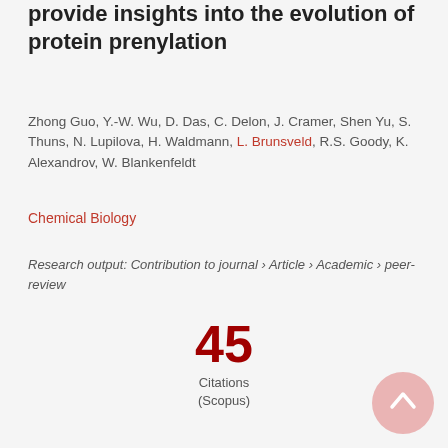provide insights into the evolution of protein prenylation
Zhong Guo, Y.-W. Wu, D. Das, C. Delon, J. Cramer, Shen Yu, S. Thuns, N. Lupilova, H. Waldmann, L. Brunsveld, R.S. Goody, K. Alexandrov, W. Blankenfeldt
Chemical Biology
Research output: Contribution to journal › Article › Academic › peer-review
45 Citations (Scopus)